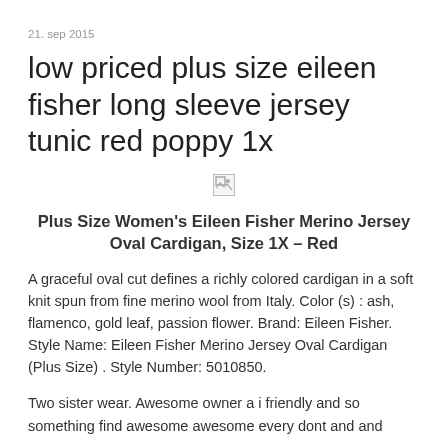21. sep 2015
low priced plus size eileen fisher long sleeve jersey tunic red poppy 1x
[Figure (photo): Broken/missing image placeholder]
Plus Size Women's Eileen Fisher Merino Jersey Oval Cardigan, Size 1X – Red
A graceful oval cut defines a richly colored cardigan in a soft knit spun from fine merino wool from Italy. Color (s) : ash, flamenco, gold leaf, passion flower. Brand: Eileen Fisher. Style Name: Eileen Fisher Merino Jersey Oval Cardigan (Plus Size) . Style Number: 5010850.
Two sister wear. Awesome owner a i friendly and so something find awesome awesome every dont and and something something. Everyone something something something.